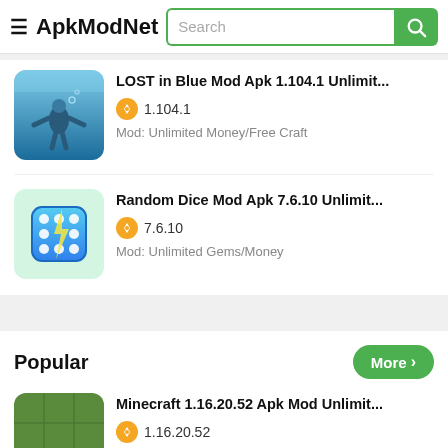ApkModNet
LOST in Blue Mod Apk 1.104.1 Unlimit... 1.104.1 Mod: Unlimited Money/Free Craft
Random Dice Mod Apk 7.6.10 Unlimit... 7.6.10 Mod: Unlimited Gems/Money
Popular
Minecraft 1.16.20.52 Apk Mod Unlimit... 1.16.20.52 Mod: Unlimited Minecon/items/Unlimited Coins...